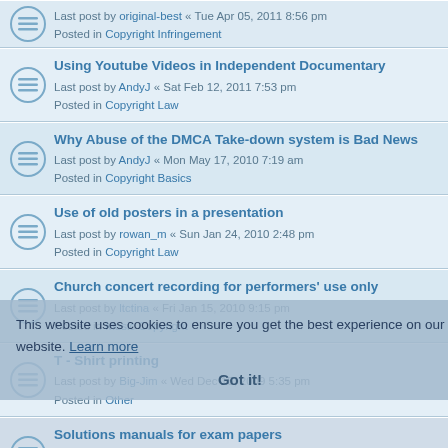Using Youtube Videos in Independent Documentary
Last post by AndyJ « Sat Feb 12, 2011 7:53 pm
Posted in Copyright Law
Why Abuse of the DMCA Take-down system is Bad News
Last post by AndyJ « Mon May 17, 2010 7:19 am
Posted in Copyright Basics
Use of old posters in a presentation
Last post by rowan_m « Sun Jan 24, 2010 2:48 pm
Posted in Copyright Law
Church concert recording for performers' use only
Last post by ltctina « Fri Jan 15, 2010 9:15 pm
Posted in Music Copyright
T - Shirt printing
Last post by Big-Jim « Wed Dec 16, 2009 5:35 pm
Posted in Other
Solutions manuals for exam papers
Last post by jerryb « Tue Nov 24, 2009 11:23 am
Posted in Copyright Law
Imitating voices and sound bites
Last post by davemalt « Wed Oct 14, 2009 9:25 pm
Posted in Copyright Law
Karloff Frankenstein image -- answer from Universal Pictures
Last post by Ekko « Fri Sep 25, 2009 9:39 am
Posted in Copyright and Permissions